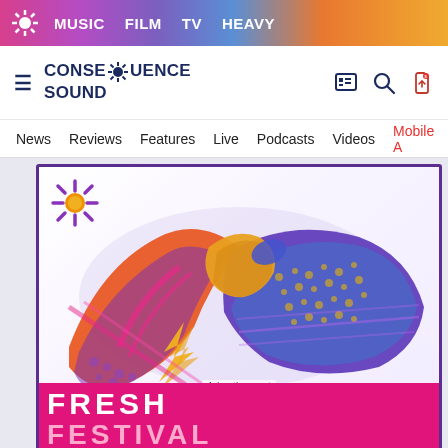MUSIC  FILM  TV  HEAVY
[Figure (logo): Consequence Sound logo with daisy icon and brand name]
News  Reviews  Features  Live  Podcasts  Videos  Mobile A
[Figure (photo): Colorful silk scarf tied in a knot, featuring purple, orange, red, yellow, blue patterns with a lightning bolt motif on a white background. Advertisement for Fresh Festival merchandise.]
Advertisement
FRESH FESTIVAL